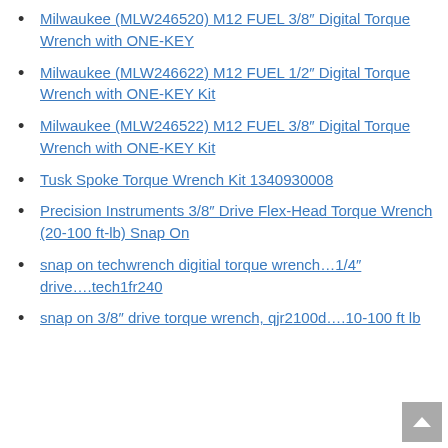Milwaukee (MLW246520) M12 FUEL 3/8″ Digital Torque Wrench with ONE-KEY
Milwaukee (MLW246622) M12 FUEL 1/2″ Digital Torque Wrench with ONE-KEY Kit
Milwaukee (MLW246522) M12 FUEL 3/8″ Digital Torque Wrench with ONE-KEY Kit
Tusk Spoke Torque Wrench Kit 1340930008
Precision Instruments 3/8″ Drive Flex-Head Torque Wrench (20-100 ft-lb) Snap On
snap on techwrench digitial torque wrench…1/4″ drive….tech1fr240
snap on 3/8″ drive torque wrench, qjr2100d….10-100 ft lb